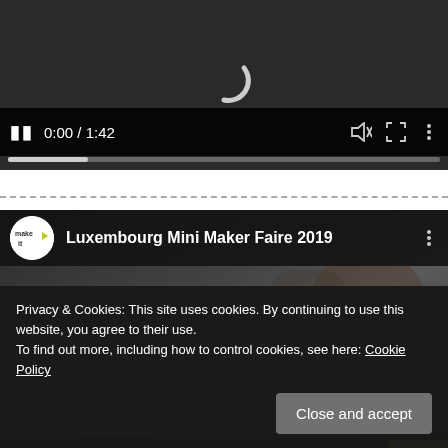[Figure (screenshot): Video player in dark mode showing a loading spinner arc, pause button, timestamp 0:00 / 1:42, mute icon, fullscreen icon, more options icon, and a progress bar.]
[Figure (screenshot): YouTube-style embedded video thumbnail for 'Luxembourg Mini Mini Maker Faire 2019' with make it channel logo, partially visible background image of people, a cookie consent overlay reading 'Privacy & Cookies: This site uses cookies. By continuing to use this website, you agree to their use. To find out more, including how to control cookies, see here: Cookie Policy' with a 'Close and accept' button.]